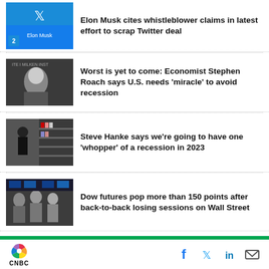[Figure (photo): Twitter logo on phone screen with Elon Musk profile, numbered 2]
Elon Musk cites whistleblower claims in latest effort to scrap Twitter deal
[Figure (photo): Economist Stephen Roach speaking at Milken Institute event]
Worst is yet to come: Economist Stephen Roach says U.S. needs ‘miracle’ to avoid recession
[Figure (photo): Person shopping in grocery store aisle]
Steve Hanke says we’re going to have one ‘whopper’ of a recession in 2023
[Figure (photo): Traders on Wall Street floor]
Dow futures pop more than 150 points after back-to-back losing sessions on Wall Street
CNBC